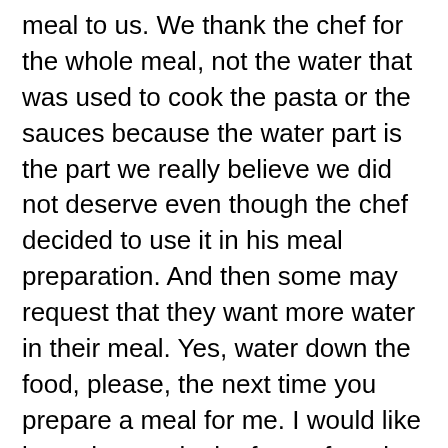meal to us. We thank the chef for the whole meal, not the water that was used to cook the pasta or the sauces because the water part is the part we really believe we did not deserve even though the chef decided to use it in his meal preparation. And then some may request that they want more water in their meal. Yes, water down the food, please, the next time you prepare a meal for me. I would like it much more in the form of market liquidity to verify to others that I got a lot of water from You. This is when grace gets exchanged into the temporal from the eternal. And still others say, thank you so much for the meal, but my stomach cannot possibly handle but one bite. I really only desire the water that has evaporated off of the once hot single roll. Thank you so much, I am so graced. These are people who are not given the